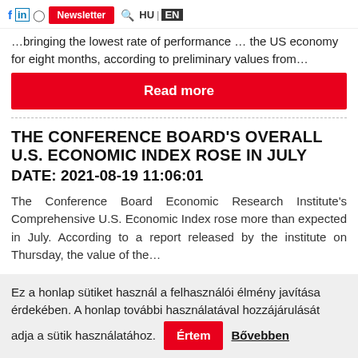f in [icon] Newsletter [icon] HU | EN
…bringing the lowest rate of performance … the US economy for eight months, according to preliminary values from…
Read more
THE CONFERENCE BOARD'S OVERALL U.S. ECONOMIC INDEX ROSE IN JULY
DATE: 2021-08-19 11:06:01
The Conference Board Economic Research Institute's Comprehensive U.S. Economic Index rose more than expected in July. According to a report released by the institute on Thursday, the value of the…
Ez a honlap sütiket használ a felhasználói élmény javítása érdekében. A honlap további használatával hozzájárulását adja a sütik használatához. Értem  Bővebben